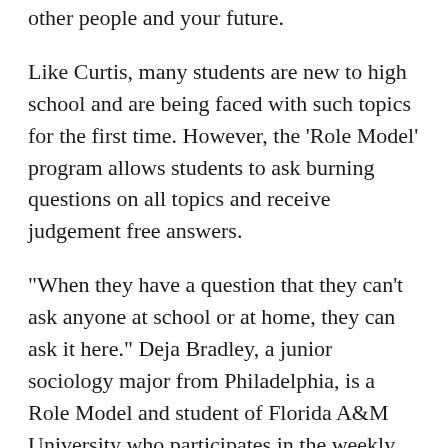other people and your future.
Like Curtis, many students are new to high school and are being faced with such topics for the first time. However, the 'Role Model' program allows students to ask burning questions on all topics and receive judgement free answers.
"When they have a question that they can't ask anyone at school or at home, they can ask it here." Deja Bradley, a junior sociology major from Philadelphia, is a Role Model and student of Florida A&M University who participates in the weekly program. Equipped with knowledge and the willingness to share her life experiences, Bradley believes opening up allows for real-life knowledge. "We are a  diverse group of students who want to be